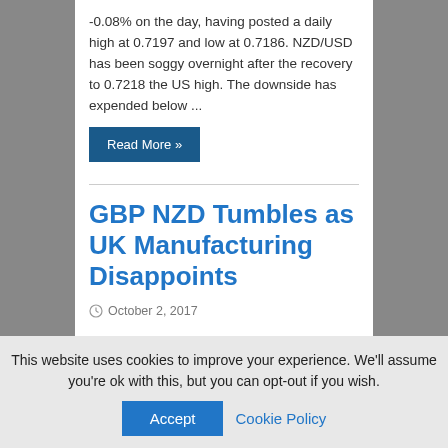-0.08% on the day, having posted a daily high at 0.7197 and low at 0.7186. NZD/USD has been soggy overnight after the recovery to 0.7218 the US high. The downside has expended below ...
Read More »
GBP NZD Tumbles as UK Manufacturing Disappoints
October 2, 2017
The Pound New Zealand Dollar exchange rate tumbled today as markets responded to news that UK manufacturing activity slipped below forecasts in
This website uses cookies to improve your experience. We'll assume you're ok with this, but you can opt-out if you wish.
Accept
Cookie Policy